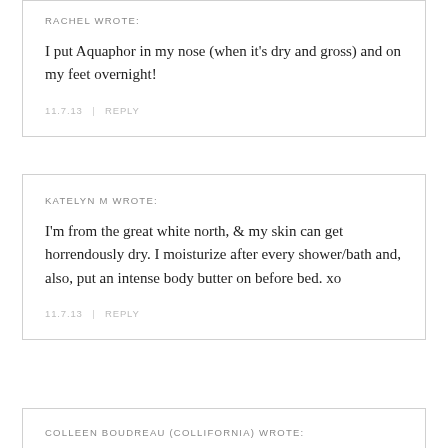RACHEL WROTE:
I put Aquaphor in my nose (when it's dry and gross) and on my feet overnight!
11.7.13  |  REPLY
KATELYN M WROTE:
I'm from the great white north, & my skin can get horrendously dry. I moisturize after every shower/bath and, also, put an intense body butter on before bed. xo
11.7.13  |  REPLY
COLLEEN BOUDREAU (COLLIFORNIA) WROTE: